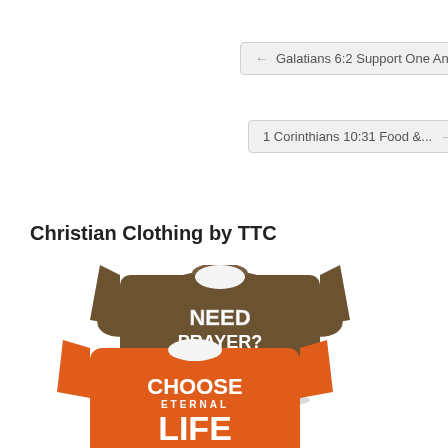← Galatians 6:2 Support One Another
1 Corinthians 10:31 Food &... →
Christian Clothing by TTC
[Figure (photo): Two Christian t-shirts overlapping: a brown shirt with text 'NEED PRAYER? INQUIRE WITHIN' and an orange shirt with text 'CHOOSE ETERNAL LIFE']